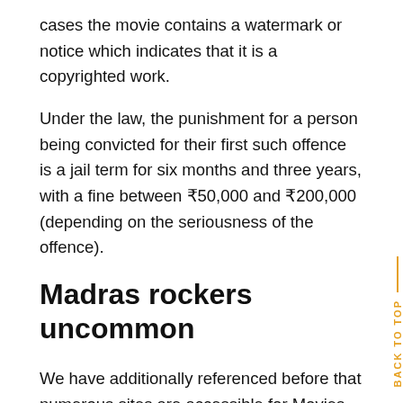cases the movie contains a watermark or notice which indicates that it is a copyrighted work.
Under the law, the punishment for a person being convicted for their first such offence is a jail term for six months and three years, with a fine between ₹50,000 and ₹200,000 (depending on the seriousness of the offence).
Madras rockers uncommon
We have additionally referenced before that numerous sites are accessible for Movies Download on the Internet. Yet, in the event that you are asking why Madras rockers turned out to be so famous or